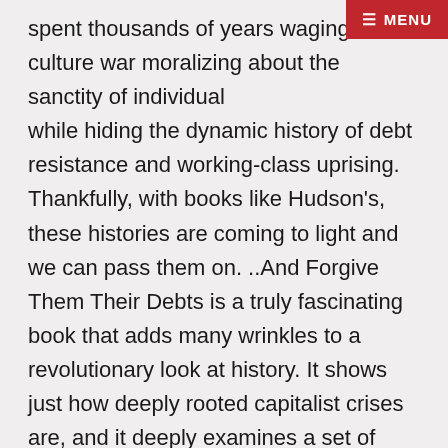spent thousands of years waging a culture war moralizing about the sanctity of individual [property,] while hiding the dynamic history of debt resistance and working-class uprising. Thankfully, with books like Hudson's, these histories are coming to light and we can pass them on. ..And Forgive Them Their Debts is a truly fascinating book that adds many wrinkles to a revolutionary look at history. It shows just how deeply rooted capitalist crises are, and it deeply examines a set of institutions that a revolutionary movement must confront: interest bearing loans, debt, credit, and distribution of surplus goods.